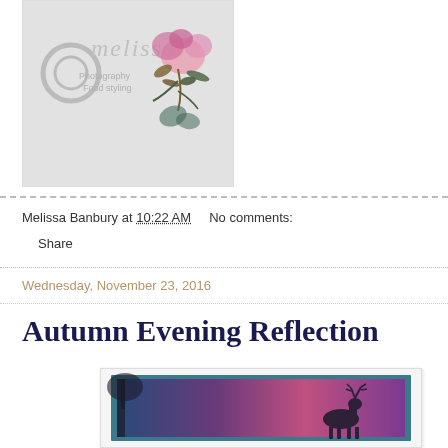[Figure (photo): Blog logo image for Melissa Photography/crafting blog with script text 'melissa' and floral watercolor decoration on grey background]
Melissa Banbury at 10:22 AM   No comments:
Share
Wednesday, November 23, 2016
Autumn Evening Reflection
[Figure (photo): Handmade greeting card with a deer silhouette scene at dusk/evening, featuring purple and pink sunset colors with tree and deer silhouettes, framed with teal border]